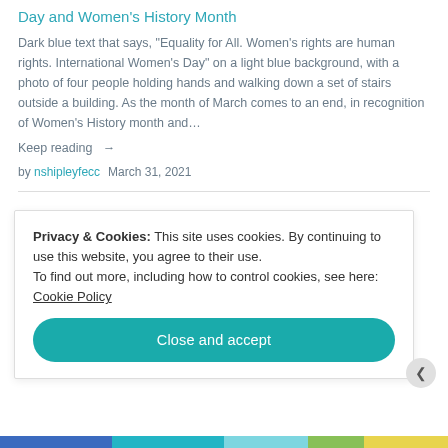Day and Women's History Month
Dark blue text that says, “Equality for All. Women’s rights are human rights. International Women’s Day” on a light blue background, with a photo of four people holding hands and walking down a set of stairs outside a building. As the month of March comes to an end, in recognition of Women’s History month and…
Keep reading →
by nshipleyfecc   March 31, 2021
Privacy & Cookies: This site uses cookies. By continuing to use this website, you agree to their use.
To find out more, including how to control cookies, see here:
Cookie Policy
Close and accept